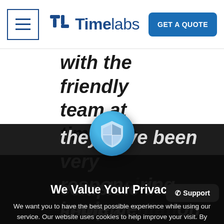Timelabs — GET A QUOTE
with the friendly team at timelabs. they have been very responsive during implementation and
We Value Your Privacy
We want you to have the best possible experience while using our service. Our website uses cookies to help improve your visit. By using this website, you consent to the use of cookies. For more detailed information regarding the use of cookies on this website, please see our Privacy Policy.
I Accept
complete the setup & first payro
@Support